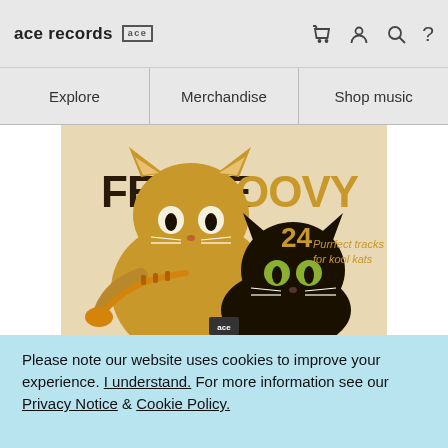ace records [ace logo]
Explore
Merchandise
Shop music
[Figure (illustration): Album cover art for 'Feline Groovy - 24 Purrfect tracks for kool kats'. Shows a tan/gold cartoon cat playing a trumpet and a black cartoon cat, retro mid-century style illustration on a cream background.]
Please note our website uses cookies to improve your experience. I understand. For more information see our Privacy Notice & Cookie Policy.